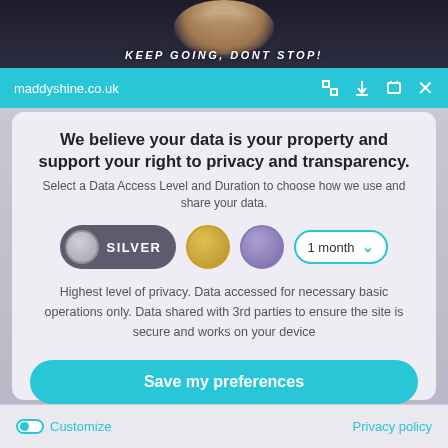[Figure (screenshot): Top strip showing dark background with person wearing leopard print, white bold italic text partially visible reading 'KEEP GOING, DONT STOP!']
maddyshine.co.uk
We believe your data is your property and support your right to privacy and transparency.
Select a Data Access Level and Duration to choose how we use and share your data.
[Figure (infographic): Privacy level selector with SILVER toggle button, gold circle option, purple circle option, and '1 month' dropdown selector]
Highest level of privacy. Data accessed for necessary basic operations only. Data shared with 3rd parties to ensure the site is secure and works on your device
Save my preferences
Customize
Privacy policy